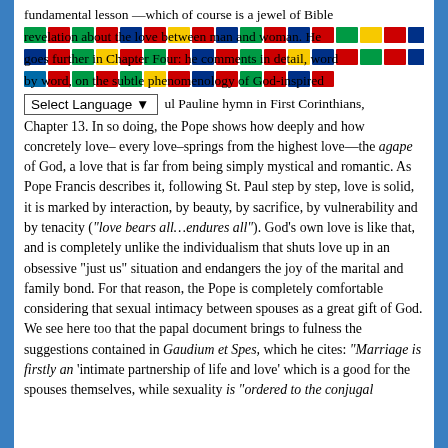fundamental lesson —which of course is a jewel of Bible revelation about the love between man and woman. He goes further in Chapter Four: he comments in detail, word by word, on the subtle phenomenology of God-inspired ...ul Pauline hymn in First Corinthians, Chapter 13. In so doing, the Pope shows how deeply and how concretely love– every love–springs from the highest love—the agape of God, a love that is far from being simply mystical and romantic. As Pope Francis describes it, following St. Paul step by step, love is solid, it is marked by interaction, by beauty, by sacrifice, by vulnerability and by tenacity ("love bears all…endures all"). God's own love is like that, and is completely unlike the individualism that shuts love up in an obsessive "just us" situation and endangers the joy of the marital and family bond. For that reason, the Pope is completely comfortable considering that sexual intimacy between spouses as a great gift of God. We see here too that the papal document brings to fulness the suggestions contained in Gaudium et Spes, which he cites: "Marriage is firstly an 'intimate partnership of life and love' which is a good for the spouses themselves, while sexuality is "ordered to the conjugal